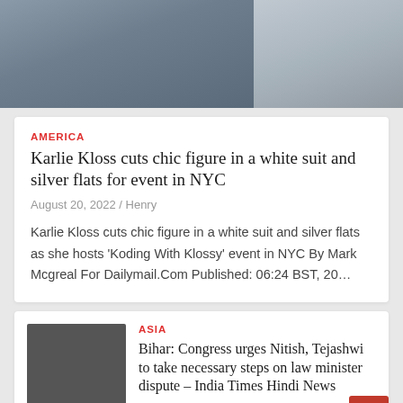[Figure (photo): Top portion of a photo showing a person in blue jeans and another figure, cropped at the top of the page]
AMERICA
Karlie Kloss cuts chic figure in a white suit and silver flats for event in NYC
August 20, 2022 / Henry
Karlie Kloss cuts chic figure in a white suit and silver flats as she hosts ‘Koding With Klossy’ event in NYC By Mark Mcgreal For Dailymail.Com Published: 06:24 BST, 20…
ASIA
[Figure (photo): Dark grey thumbnail image placeholder]
Bihar: Congress urges Nitish, Tejashwi to take necessary steps on law minister dispute – India Times Hindi News
August 20, 2022 / Henry